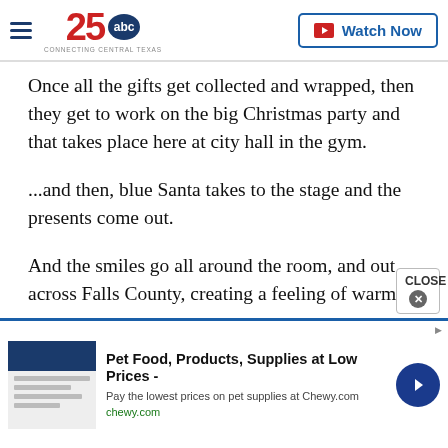KXXV 25 ABC — Connecting Central Texas — Watch Now
Once all the gifts get collected and wrapped, then they get to work on the big Christmas party and that takes place here at city hall in the gym.
...and then, blue Santa takes to the stage and the presents come out.
And the smiles go all around the room, and out across Falls County, creating a feeling of warmth and well-being.
[Figure (screenshot): Advertisement banner: Pet Food, Products, Supplies at Low Prices - chewy.com with arrow button and product image placeholder]